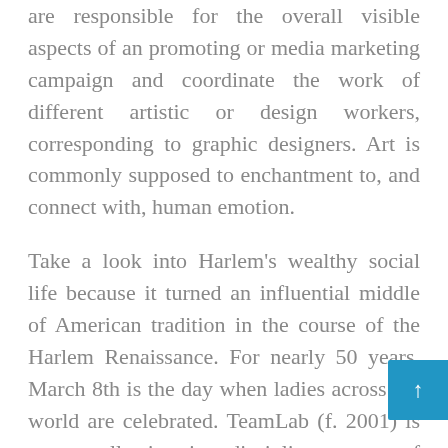are responsible for the overall visible aspects of an promoting or media marketing campaign and coordinate the work of different artistic or design workers, corresponding to graphic designers. Art is commonly supposed to enchantment to, and connect with, human emotion.
Take a look into Harlem's wealthy social life because it turned an influential middle of American tradition in the course of the Harlem Renaissance. For nearly 50 years, March 8th is the day when ladies across the world are celebrated. TeamLab (f. 2001) is an art collective, interdisciplinary group of ultratechnologists whose collaborative follow seeks to navigate the confluence of art, science, expertise, design and the pure world. This oil portray depicts the Department of Fine Arts at the university in Lahore, Pakistan, which Molka established 1940. We can match you up with art you'll love, assist